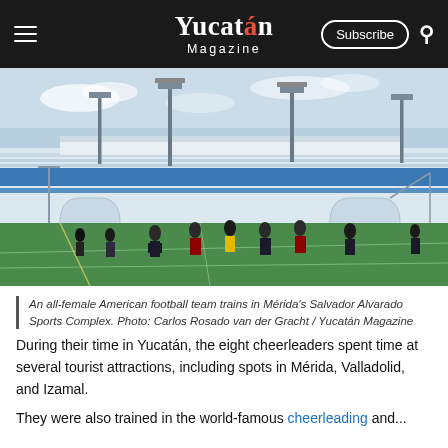Yucatán Magazine — Subscribe
[Figure (photo): An all-female American football team training on a green field at the Salvador Alvarado Sports Complex in Mérida, with stadium bleachers and tall light towers visible in the background under a blue sky.]
An all-female American football team trains in Mérida's Salvador Alvarado Sports Complex. Photo: Carlos Rosado van der Gracht / Yucatán Magazine
During their time in Yucatán, the eight cheerleaders spent time at several tourist attractions, including spots in Mérida, Valladolid, and Izamal.
They were also trained in the world-famous cheerleading and...